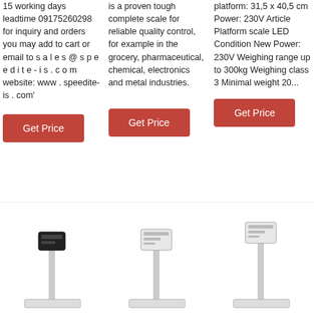15 working days leadtime 09175260298 for inquiry and orders you may add to cart or email to s a l e s @ s p e e d i t e - i s . c o m website: www . speedite-is . com'
is a proven tough complete scale for reliable quality control, for example in the grocery, pharmaceutical, chemical, electronics and metal industries.
platform: 31,5 x 40,5 cm Power: 230V Article Platform scale LED Condition New Power: 230V Weighing range up to 300kg Weighing class 3 Minimal weight 20...
[Figure (other): Red 'Get Price' button, column 1]
[Figure (other): Red 'Get Price' button, column 2]
[Figure (other): Red 'Get Price' button, column 3]
[Figure (photo): Platform scale with black display unit on pole, column 1]
[Figure (photo): Platform scale with white display unit on pole, column 2]
[Figure (photo): Platform scale with white display unit on tall pole, column 3]